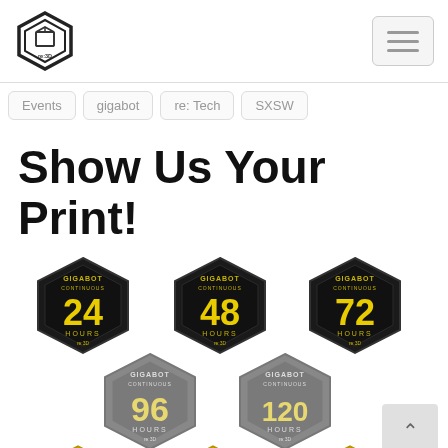[Figure (logo): re:3D hexagonal logo]
[Figure (other): Hamburger menu button with three horizontal lines]
Events
gigabot
re: Tech
SXSW
Show Us Your Print!
[Figure (illustration): Six hexagonal badges showing Gigabot continuous print hour milestones: 24 HOURS, 48 HOURS, 72 HOURS (dark/black badges, top row); 96 HOURS, 120 HOURS (gray badges, second row); and partially visible 144, 168, 192+ badges (gold/yellow, bottom row)]